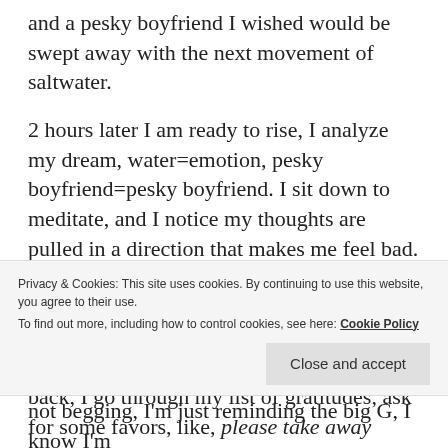and a pesky boyfriend I wished would be swept away with the next movement of saltwater.
2 hours later I am ready to rise, I analyze my dream, water=emotion, pesky boyfriend=pesky boyfriend. I sit down to meditate, and I notice my thoughts are pulled in a direction that makes me feel bad. Noticing......NO!  I'm not going here today, I focus on my breathe, exhaling all the noise,  and by the grace of god,  the volume gets turned down way low.  In and out. Coming back, I go through my list of gratitudes, ask for some favors, like, please take away
Privacy & Cookies: This site uses cookies. By continuing to use this website, you agree to their use.
To find out more, including how to control cookies, see here: Cookie Policy
Close and accept
not begging, I'm just reminding the big G,  I know I'm